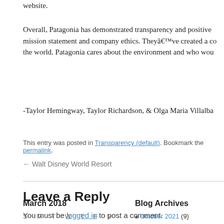website.
Overall, Patagonia has demonstrated transparency and positive mission statement and company ethics. They've created a co the world. Patagonia cares about the environment and who wou
-Taylor Hemingway, Taylor Richardson, & Olga Maria Villalba
This entry was posted in Transparency (default). Bookmark the permalink.
← Walt Disney World Resort
Leave a Reply
You must be logged in to post a comment.
March 2018
S  M  T  W  T  F  S
Blog Archives
October 2021 (9)